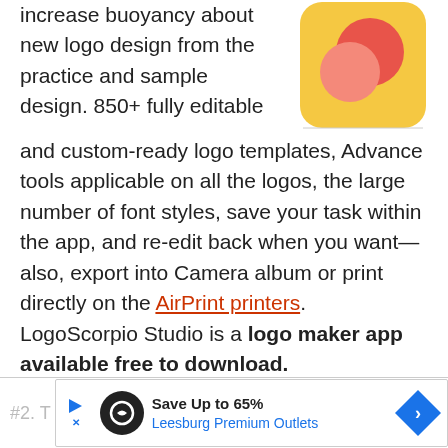increase buoyancy about new logo design from the practice and sample design. 850+ fully editable and custom-ready logo templates, Advance tools applicable on all the logos, the large number of font styles, save your task within the app, and re-edit back when you want—also, export into Camera album or print directly on the AirPrint printers. LogoScorpio Studio is a logo maker app available free to download.
[Figure (logo): App icon with yellow/orange rounded square background, a red circle and a salmon/pink geometric shape]
Download Now – Free
[Figure (infographic): Advertisement bar: Save Up to 65% Leesburg Premium Outlets]